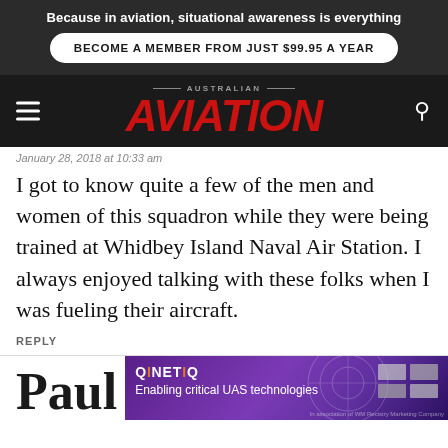Because in aviation, situational awareness is everything
BECOME A MEMBER FROM JUST $99.95 A YEAR
AUSTRALIAN AVIATION
January 28, 2018 at 10:33 am
I got to know quite a few of the men and women of this squadron while they were being trained at Whidbey Island Naval Air Station. I always enjoyed talking with these folks when I was fueling their aircraft.
REPLY
Paul
[Figure (other): QinetiQ advertisement banner: purple/violet background with radar circles graphic, text 'QINETIQ Enabling critical UAS technologies']